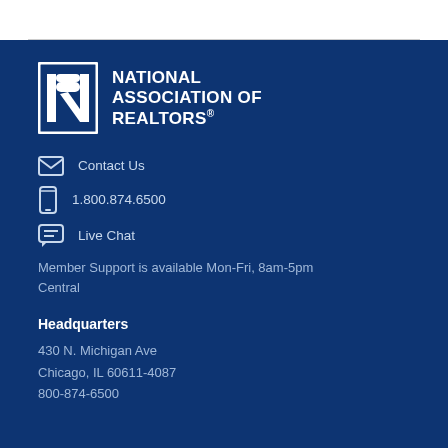[Figure (logo): National Association of REALTORS® logo with NAR emblem and text]
Contact Us
1.800.874.6500
Live Chat
Member Support is available Mon-Fri, 8am-5pm Central
Headquarters
430 N. Michigan Ave
Chicago, IL 60611-4087
800-874-6500